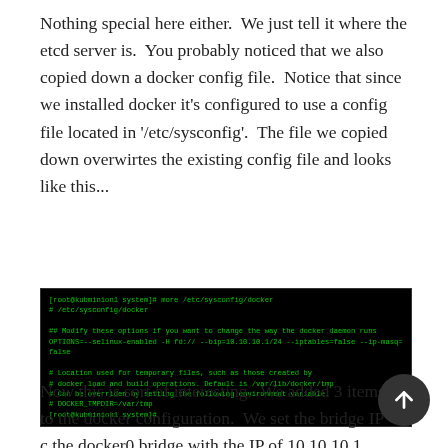Nothing special here either.  We just tell it where the etcd server is.  You probably noticed that we also copied down a docker config file.  Notice that since we installed docker it's configured to use a config file located in '/etc/sysconfig'.  The file we copied down overwirtes the existing config file and looks like this...
[Figure (screenshot): Terminal screenshot showing contents of /etc/sysconfig/docker file with green text on black background. Shows OPTIONS line with selinux-enabled, bip=10.10.10.1/24, iptables=false, ip-masq=false settings.]
Now this is sort of interesting.  We added 3 items to the docker configuration.  We set the bridge IP c the docker0 bridge with the IP of 10.10.10.1.  We also